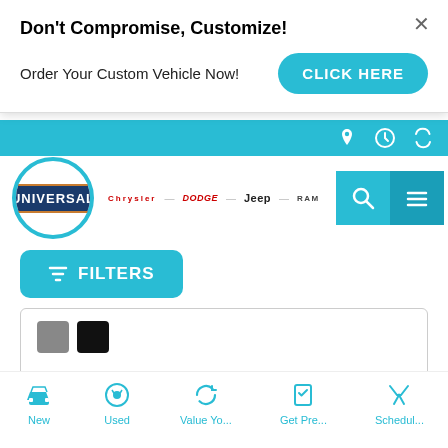Don't Compromise, Customize!
Order Your Custom Vehicle Now!
[Figure (screenshot): Blue 'CLICK HERE' call-to-action button]
[Figure (logo): Universal dealership logo with blue circle and orange border]
[Figure (logo): Car brand logos: Chrysler, Dodge, Jeep, Ram]
[Figure (screenshot): Blue FILTERS button with funnel icon]
| Label | Price |
| --- | --- |
| MSRP | $35,485 |
| Advertised Price | $34,845 |
New
Used
Value Yo...
Get Pre...
Schedul...